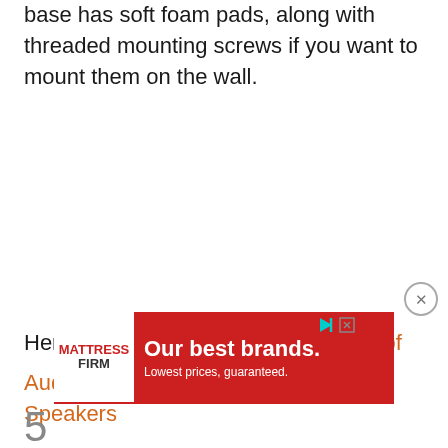base has soft foam pads, along with threaded mounting screws if you want to mount them on the wall.
Here are the technical specifications of Audioengine A2+ Wireless Computer Speakers
[Figure (other): Advertisement banner for Mattress Firm with red background reading 'Our best brands. Lowest prices, guaranteed.' with Mattress Firm logo on left, play and close buttons on right.]